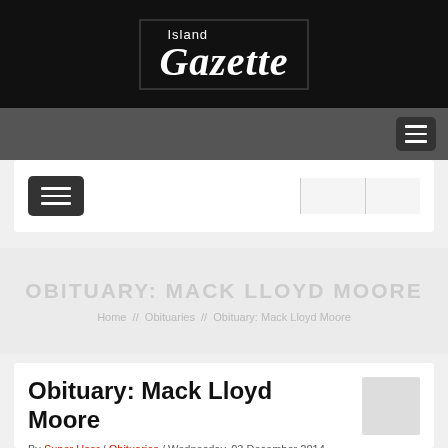Island Gazette
[Figure (logo): Island Gazette newspaper logo, white text on black background]
OBITUARY: MACK LLOYD MOORE
Home / Obituaries / Obituary: Mack Lloyd Moore
Obituary: Mack Lloyd Moore
By Super User / Obituaries / Wednesday, 03 December 2014 05:00